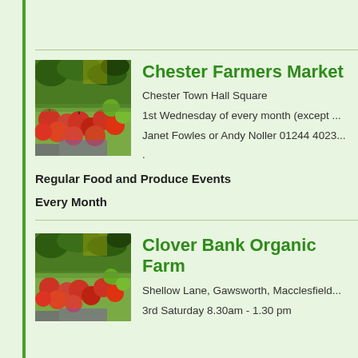[Figure (photo): Photo of fresh vegetables and apples at a farmers market stall]
Chester Farmers Marke
Chester Town Hall Square
1st Wednesday of every month (except ...
Janet Fowles or Andy Noller 01244 4023...
Regular Food and Produce Events
Every Month
[Figure (photo): Photo of fresh vegetables and apples at a farmers market stall]
Clover Bank Organic F
Shellow Lane, Gawsworth, Macclesfield...
3rd Saturday 8.30am - 1.30 pm